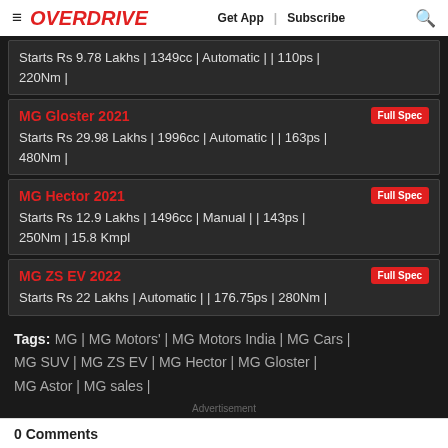≡ OVERDRIVE  Get App | Subscribe 🔍
Starts Rs 9.78 Lakhs | 1349cc | Automatic | | 110ps | 220Nm |
MG Gloster 2021 — Full Spec
Starts Rs 29.98 Lakhs | 1996cc | Automatic | | 163ps | 480Nm |
MG Hector 2021 — Full Spec
Starts Rs 12.9 Lakhs | 1496cc | Manual | | 143ps | 250Nm | 15.8 Kmpl
MG ZS EV 2022 — Full Spec
Starts Rs 22 Lakhs | Automatic | | 176.75ps | 280Nm |
Tags: MG | MG Motors' | MG Motors India | MG Cars | MG SUV | MG ZS EV | MG Hector | MG Gloster | MG Astor | MG sales |
Advertisement
0 Comments